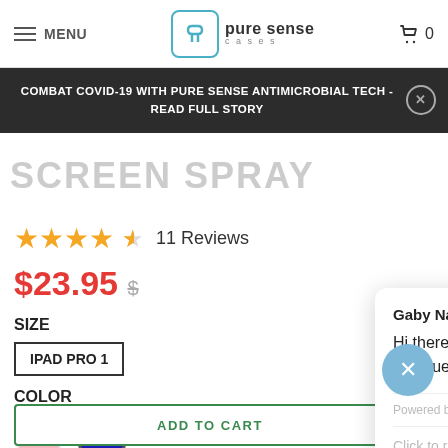[Figure (screenshot): E-commerce product page for Pure Sense Cases showing navigation bar with menu icon, Pure Sense Cases logo, and cart icon]
COMBAT COVID-19 WITH PURE SENSE ANTIMICROBIAL TECH - READ FULL STORY
SCREEN SPRAY
4.5 stars — 11 Reviews
$23.95
SIZE
IPAD PRO 1
COLOR
Gaby Navarro
Hi there, let me know if you have any questions :)
Powered by gorgias
Click to reply
ADD TO CART